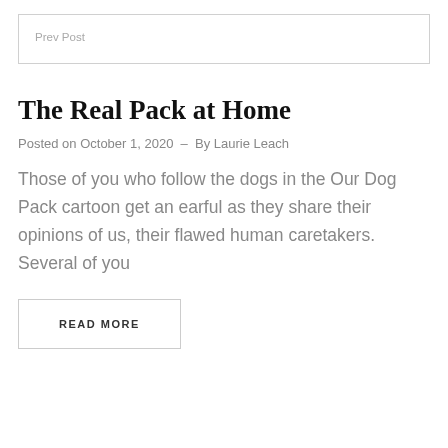Prev Post
The Real Pack at Home
Posted on October 1, 2020  –  By Laurie Leach
Those of you who follow the dogs in the Our Dog Pack cartoon get an earful as they share their opinions of us, their flawed human caretakers. Several of you
READ MORE